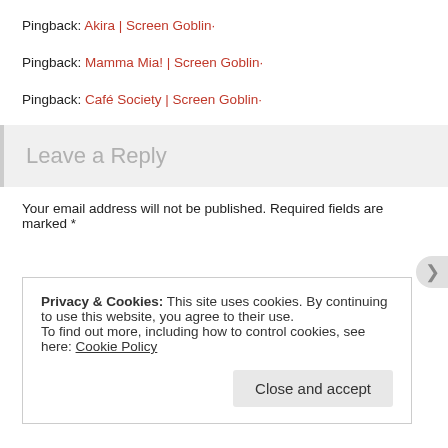Pingback: Akira | Screen Goblin·
Pingback: Mamma Mia! | Screen Goblin·
Pingback: Café Society | Screen Goblin·
Leave a Reply
Your email address will not be published. Required fields are marked *
Privacy & Cookies: This site uses cookies. By continuing to use this website, you agree to their use.
To find out more, including how to control cookies, see here: Cookie Policy
Close and accept